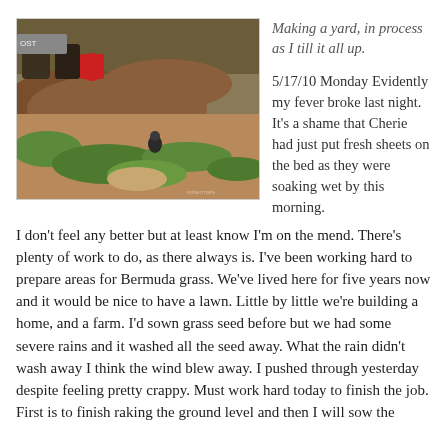[Figure (photo): Outdoor yard scene showing tilled brown soil mounds and patches of green grass, with some objects in the background including a red container and dark barrels. A small animal or bird is visible in the middle of the scene.]
Making a yard, in process as I till it all up.
5/17/10 Monday Evidently my fever broke last night. It's a shame that Cherie had just put fresh sheets on the bed as they were soaking wet by this morning. I don't feel any better but at least know I'm on the mend. There's plenty of work to do, as there always is. I've been working hard to prepare areas for Bermuda grass. We've lived here for five years now and it would be nice to have a lawn. Little by little we're building a home, and a farm. I'd sown grass seed before but we had some severe rains and it washed all the seed away. What the rain didn't wash away I think the wind blew away. I pushed through yesterday despite feeling pretty crappy. Must work hard today to finish the job. First is to finish raking the ground level and then I will sow the